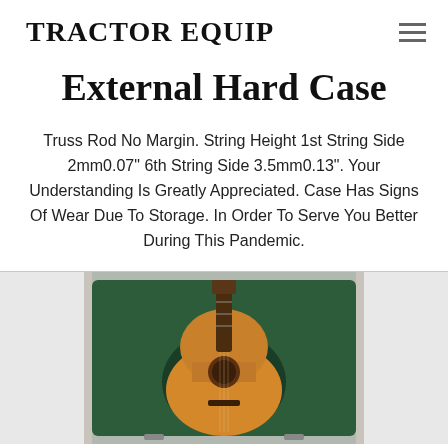TRACTOR EQUIP
External Hard Case
Truss Rod No Margin. String Height 1st String Side 2mm0.07" 6th String Side 3.5mm0.13". Your Understanding Is Greatly Appreciated. Case Has Signs Of Wear Due To Storage. In Order To Serve You Better During This Pandemic.
[Figure (photo): Acoustic guitar in an open hard case with green velvet lining, viewed from above]